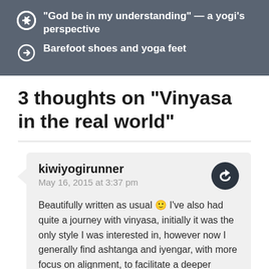"God be in my understanding" — a yogi's perspective
Barefoot shoes and yoga feet
3 thoughts on “Vinyasa in the real world”
kiwiyogirunner
May 16, 2015 at 3:37 pm

Beautifully written as usual 🙂 I've also had quite a journey with vinyasa, initially it was the only style I was interested in, however now I generally find ashtanga and iyengar, with more focus on alignment, to facilitate a deeper practice for me and give me that sense